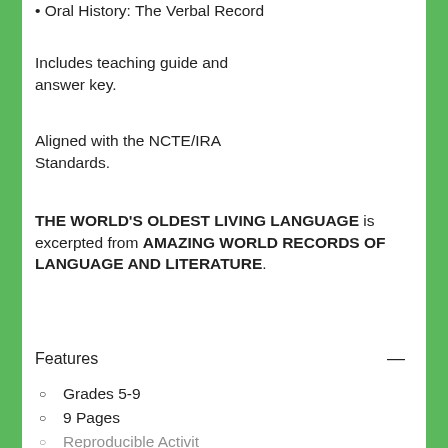• Oral History: The Verbal Record
Includes teaching guide and answer key.
Aligned with the NCTE/IRA Standards.
THE WORLD'S OLDEST LIVING LANGUAGE is excerpted from AMAZING WORLD RECORDS OF LANGUAGE AND LITERATURE.
Features
Grades 5-9
9 Pages
Reproducible Activity